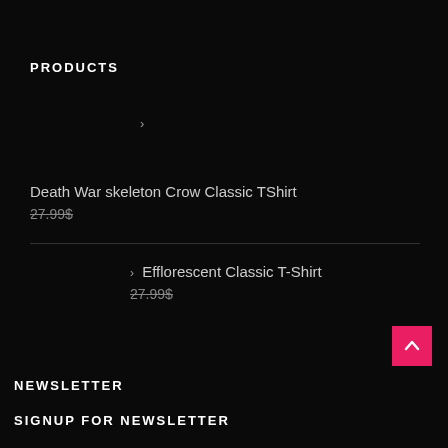PRODUCTS
›
Death War skeleton Crow Classic TShirt
27.99$
› Efflorescent Classic T-Shirt
27.99$
NEWSLETTER
SIGNUP FOR NEWSLETTER